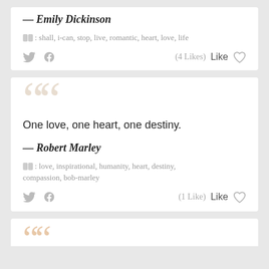— Emily Dickinson
🏷: shall, i-can, stop, live, romantic, heart, love, life
(4 Likes)  Like
One love, one heart, one destiny.
— Robert Marley
🏷: love, inspirational, humanity, heart, destiny, compassion, bob-marley
(1 Like)  Like